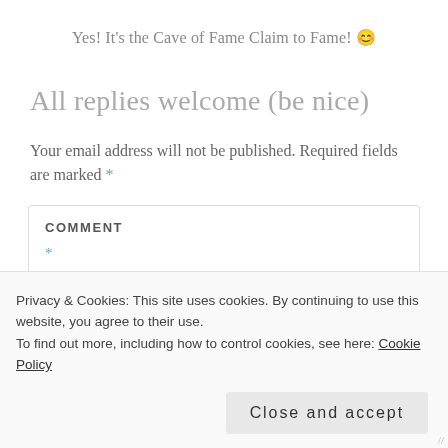Yes! It's the Cave of Fame Claim to Fame! 😊
All replies welcome (be nice)
Your email address will not be published. Required fields are marked *
COMMENT
*
Privacy & Cookies: This site uses cookies. By continuing to use this website, you agree to their use.
To find out more, including how to control cookies, see here: Cookie Policy
Close and accept